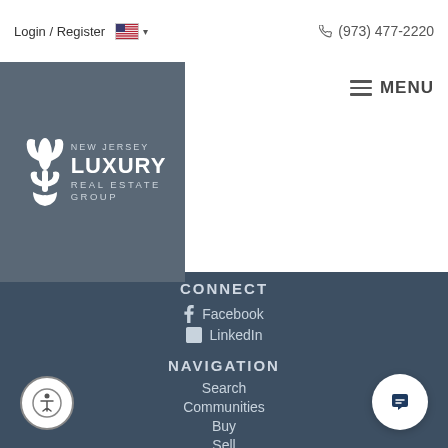Login / Register  🇺🇸 ▾  (973) 477-2220  ≡ MENU
[Figure (logo): New Jersey Luxury Real Estate Group logo with fleur-de-lis icon on blue-grey background]
CONNECT
f Facebook
in LinkedIn
NAVIGATION
Search
Communities
Buy
Sell
The Experts
Contact
POPULAR SEARCHES